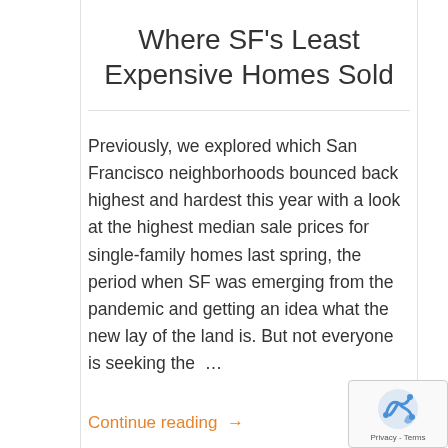Where SF's Least Expensive Homes Sold
Previously, we explored which San Francisco neighborhoods bounced back highest and hardest this year with a look at the highest median sale prices for single-family homes last spring, the period when SF was emerging from the pandemic and getting an idea what the new lay of the land is. But not everyone is seeking the …
Continue reading →
July 15, 2021 · TheFrontSteps · Bayview, Excelsior, Oceanview, San Francisco Real Estate · Bayview, Excelsior, Oceanview, portola, San Francisco, san francisco